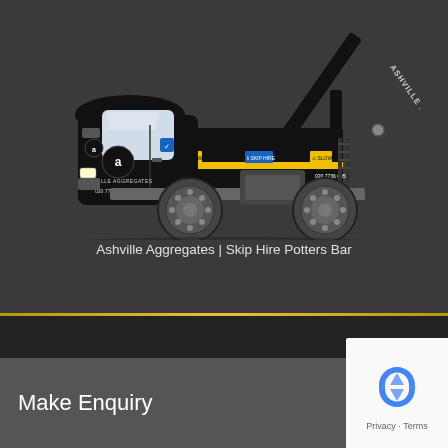[Figure (illustration): Side-view illustration of an Ashville Aggregates skip hire lorry/truck. The truck is black with yellow stripe detailing, displaying the Ashville Aggregates logo and phone number on the cab and body. The truck has a skip-loader arm raised at the back with 'Ashville Aggregates' text on it. The vehicle has large grey wheels and realistic side-view styling.]
Ashville Aggregates | Skip Hire Potters Bar
Make Enquiry